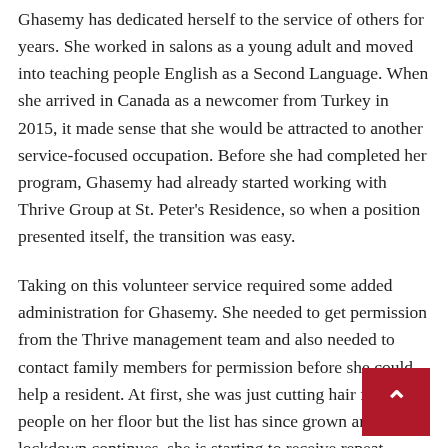Ghasemy has dedicated herself to the service of others for years. She worked in salons as a young adult and moved into teaching people English as a Second Language. When she arrived in Canada as a newcomer from Turkey in 2015, it made sense that she would be attracted to another service-focused occupation. Before she had completed her program, Ghasemy had already started working with Thrive Group at St. Peter's Residence, so when a position presented itself, the transition was easy.
Taking on this volunteer service required some added administration for Ghasemy. She needed to get permission from the Thrive management team and also needed to contact family members for permission before she could help a resident. At first, she was just cutting hair for people on her floor but the list has since grown and, as the lockdown continues, she is starting to receive repeat requests.
“As long as I see a need, I’ll just do it,” she said. “I like them and it makes them happy. So, it makes me happy too.
“It’s not a perfect world but we do what we can to help